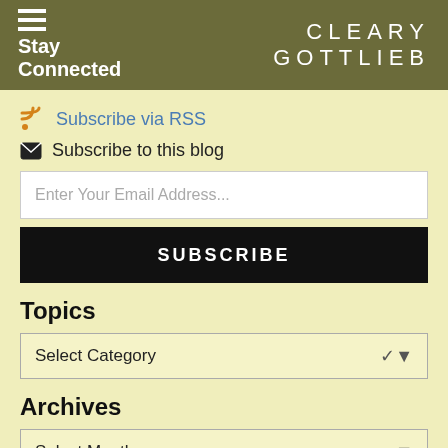Stay Connected | CLEARY GOTTLIEB
Subscribe via RSS
Subscribe to this blog
Enter Your Email Address...
SUBSCRIBE
Topics
Select Category
Archives
Select Month